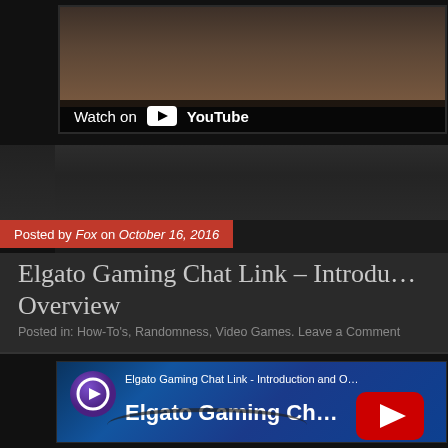[Figure (screenshot): Top YouTube video thumbnail showing 'Watch on YouTube' overlay with YouTube logo, dark background, partial video content visible]
Posted by Fox on October 16, 2016
Elgato Gaming Chat Link – Introduction and Overview
Posted in: How-To's, Randomness, Video Games. Leave a Comment
[Figure (screenshot): YouTube video thumbnail for 'Elgato Gaming Chat Link - Introduction and Overview' featuring Elgato Gaming logo, blue gradient background, cable image, large YouTube play button, and bold white text reading 'Elgato Gaming Ch...']